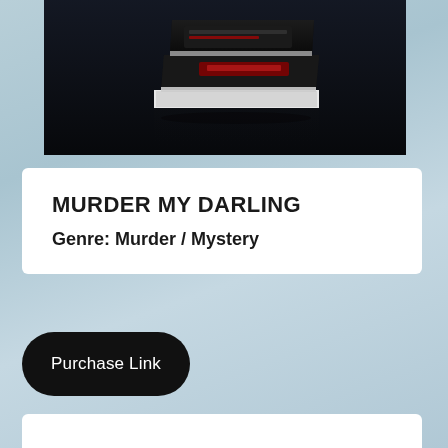[Figure (photo): Dark background photo showing stacked black books on a reflective surface, moody dramatic lighting]
MURDER MY DARLING
Genre: Murder / Mystery
Purchase Link
[Figure (photo): Partially visible image at the bottom of the page, appears to show a warm-toned surface or material]